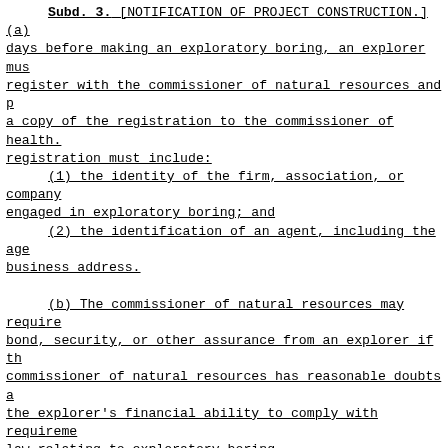Subd. 3. [NOTIFICATION OF PROJECT CONSTRUCTION.] (a) days before making an exploratory boring, an explorer must register with the commissioner of natural resources and provide a copy of the registration to the commissioner of health. The registration must include:
(1) the identity of the firm, association, or company engaged in exploratory boring; and
(2) the identification of an agent, including the agent's business address.
(b) The commissioner of natural resources may require a bond, security, or other assurance from an explorer if the commissioner of natural resources has reasonable doubts about the explorer's financial ability to comply with requirements of law relating to exploratory boring.
(c) An explorer shall annually register with the commissioner of natural resources while conducting exploratory boring. [156A.071 s. 3]
Subd. 4. [MAP OF BORINGS.] By ten days before beginning exploratory boring, an explorer must submit to the commissioners of health and natural resources a county road map having a scale of one-half inch equal to one mile, as prepared by the department of transportation, showing the location of each proposed exploratory boring to the nearest estimated 40 acre parcel. [156A.071 s. 4]
Subd. 5. [ACCESS TO DRILL SITES.] The commissioners
(1) the identity of the firm, association, or company engaged in exploratory boring; and
(2) the identification of an agent, including the agent's business address.